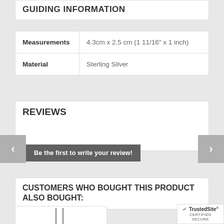GUIDING INFORMATION
|  |  |
| --- | --- |
| Measurements | 4.3cm x 2.5 cm (1 11/16" x 1 inch) |
| Material | Sterling Silver |
REVIEWS
Be the first to write your review!
CUSTOMERS WHO BOUGHT THIS PRODUCT ALSO BOUGHT:
[Figure (photo): Product image of silver jewelry pieces]